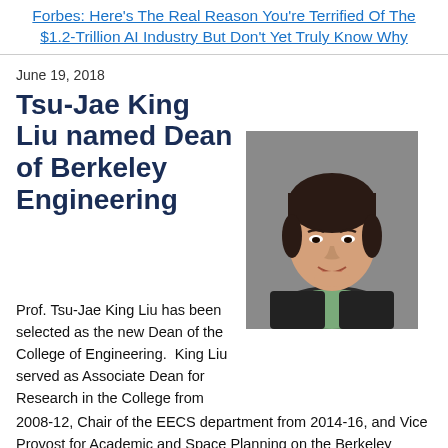Forbes: Here's The Real Reason You're Terrified Of The $1.2-Trillion AI Industry But Don't Yet Truly Know Why
June 19, 2018
Tsu-Jae King Liu named Dean of Berkeley Engineering
[Figure (photo): Professional headshot of Prof. Tsu-Jae King Liu, a woman with short dark hair, smiling, wearing a dark jacket over a green top, against a grey background.]
Prof. Tsu-Jae King Liu has been selected as the new Dean of the College of Engineering.  King Liu served as Associate Dean for Research in the College from 2008-12, Chair of the EECS department from 2014-16, and Vice Provost for Academic and Space Planning on the Berkeley campus from 2016-18. She is a member of both the National Academy of Engineering and the National Academy of Inventors, and is internationally recognized for her research